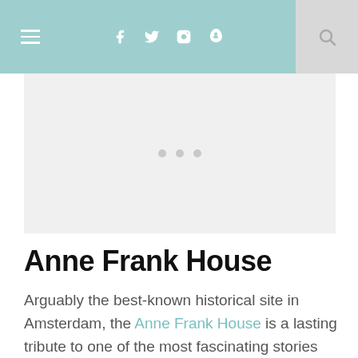≡  f  twitter  instagram  pinterest  🔍
[Figure (other): Image placeholder area with three dots indicating a loading or carousel image]
Anne Frank House
Arguably the best-known historical site in Amsterdam, the Anne Frank House is a lasting tribute to one of the most fascinating stories from the 20th